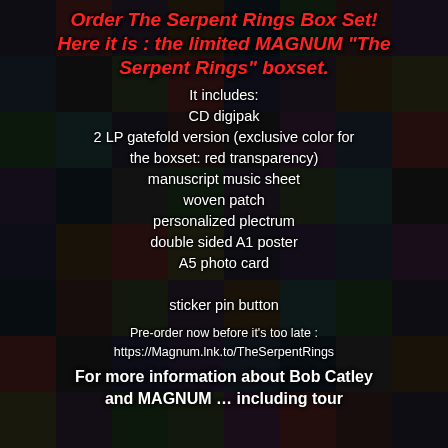Order The Serpent Rings Box Set! Here it is : the limited MAGNUM "The Serpent Rings" boxset.
It includes:
CD digipak
2 LP gatefold version (exclusive color for the boxset: red transparency)
manuscript music sheet
woven patch
personalized plectrum
double sided A1 poster
A5 photo card
sticker pin button
Pre-order now before it's too late :
https://Magnum.lnk.to/TheSerpentRings
For more information about Bob Catley and MAGNUM … including tour